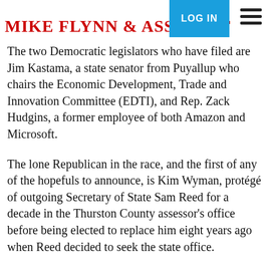Mike Flynn & Associates
The two Democratic legislators who have filed are Jim Kastama, a state senator from Puyallup who chairs the Economic Development, Trade and Innovation Committee (EDTI), and Rep. Zack Hudgins, a former employee of both Amazon and Microsoft.
The lone Republican in the race, and the first of any of the hopefuls to announce, is Kim Wyman, protégé of outgoing Secretary of State Sam Reed for a decade in the Thurston County assessor's office before being elected to replace him eight years ago when Reed decided to seek the state office.
Wyman notes that she has "already demonstrated the ability to perform the